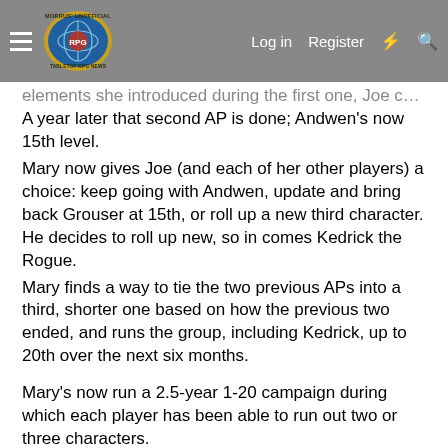Morrus' Unofficial Tabletop RPG News — Log in | Register
elements she introduced during the first one, Joe comes back with Andwen, a Bard.
A year later that second AP is done; Andwen's now 15th level.
Mary now gives Joe (and each of her other players) a choice: keep going with Andwen, update and bring back Grouser at 15th, or roll up a new third character. He decides to roll up new, so in comes Kedrick the Rogue.
Mary finds a way to tie the two previous APs into a third, shorter one based on how the previous two ended, and runs the group, including Kedrick, up to 20th over the next six months.
Mary's now run a 2.5-year 1-20 campaign during which each player has been able to run out two or three characters.